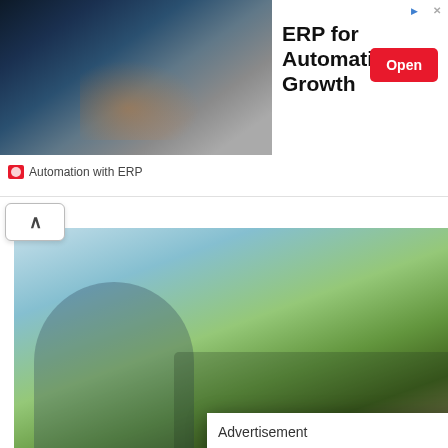[Figure (screenshot): Top banner ad showing industrial/welding photo on left side with dark blue-grey gradient]
ERP for Automation & Growth
Open
Automation with ERP
[Figure (photo): Farmer/agricultural worker man in plaid shirt leaning on fence with tractor and farm equipment in background, green field]
Agri-Law - Industry Specialists Fighting F...
Farming Law | Search Ads
[Figure (screenshot): LEGO Star Wars The Skywalker Saga promotional image with dark space background, characters with lightsabers]
Advertisement
Most Popular Products
Updated Weekly!
[Figure (illustration): Orange background with white silhouette icons of electronic consumer products and shopping items]
[Figure (screenshot): Bottom black section with orange/red lightning bolt icon, orange bracket symbol [] and circular close button]